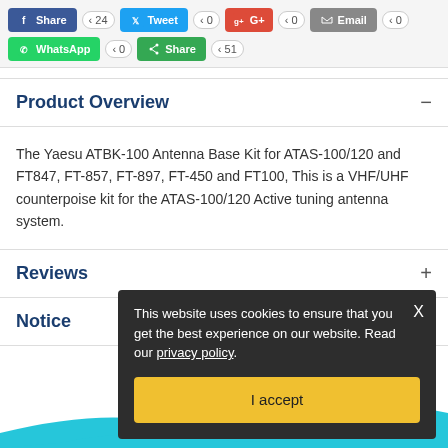[Figure (screenshot): Social sharing buttons bar: Facebook Share (24), Tweet (0), Google+ G+ (0), Email (0), WhatsApp (0), Share (51)]
Product Overview
The Yaesu ATBK-100 Antenna Base Kit for ATAS-100/120 and FT847, FT-857, FT-897, FT-450 and FT100, This is a VHF/UHF counterpoise kit for the ATAS-100/120 Active tuning antenna system.
Reviews
Notice
This website uses cookies to ensure that you get the best experience on our website. Read our privacy policy.